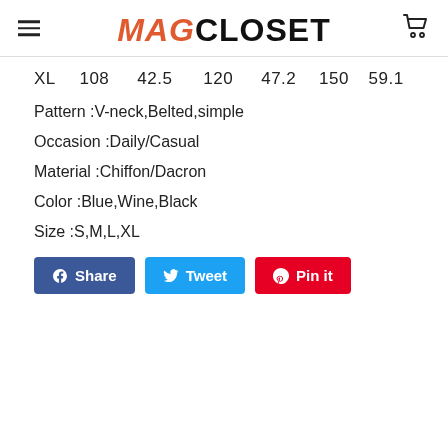MAGCLOSET
XL  108  42.5  120  47.2  150  59.1
Pattern :V-neck,Belted,simple
Occasion :Daily/Casual
Material :Chiffon/Dacron
Color :Blue,Wine,Black
Size :S,M,L,XL
Share  Tweet  Pin it